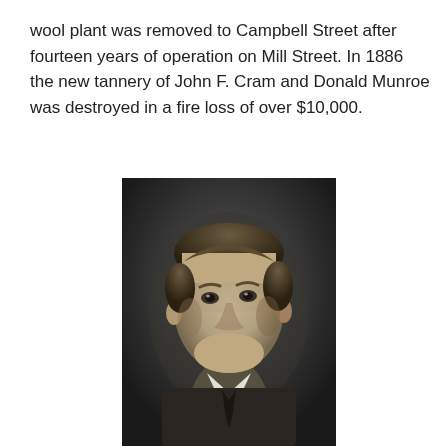wool plant was removed to Campbell Street after fourteen years of operation on Mill Street. In 1886 the new tannery of John F. Cram and Donald Munroe was destroyed in a fire loss of over $10,000.
[Figure (photo): Black and white portrait photograph of a middle-aged man with a mustache, wearing a dark suit with a white collar and dark tie, looking slightly upward and to the left.]